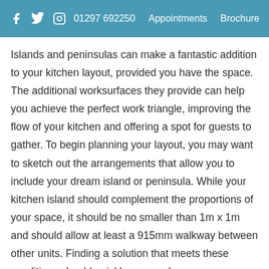f  🐦  ○   01297 692250   Appointments   Brochure
Islands and peninsulas can make a fantastic addition to your kitchen layout, provided you have the space. The additional worksurfaces they provide can help you achieve the perfect work triangle, improving the flow of your kitchen and offering a spot for guests to gather. To begin planning your layout, you may want to sketch out the arrangements that allow you to include your dream island or peninsula. While your kitchen island should complement the proportions of your space, it should be no smaller than 1m x 1m and should allow at least a 915mm walkway between other units. Finding a solution that meets these conditions should quickly narrow down your